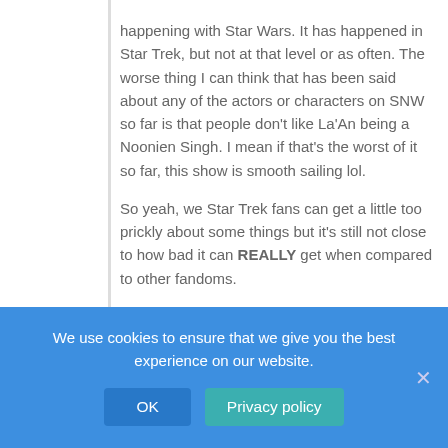happening with Star Wars. It has happened in Star Trek, but not at that level or as often. The worse thing I can think that has been said about any of the actors or characters on SNW so far is that people don't like La'An being a Noonien Singh. I mean if that's the worst of it so far, this show is smooth sailing lol.

So yeah, we Star Trek fans can get a little too prickly about some things but it's still not close to how bad it can REALLY get when compared to other fandoms.
One Lion
Reply to Tiger2 · June 1, 2022 4:47 pm
Is the Obi Wan series any good? May add Disney soon for say 2 months to watch that an binge watch
Tiger2
We use cookies to ensure that we give you the best experience on our website.